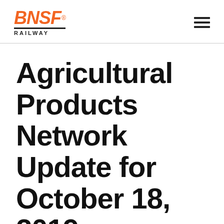BNSF RAILWAY
Agricultural Products Network Update for October 18, 2019